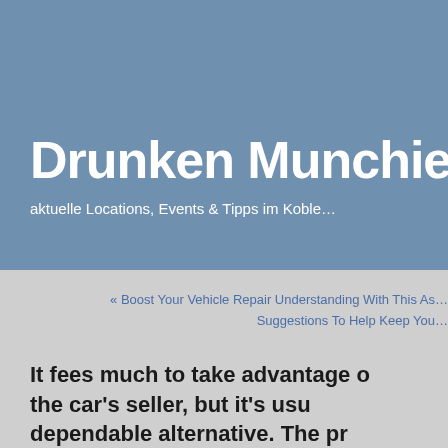Drunken Munchies
aktuelle Locations, Events & Tipps im Koble…
« Boost Your Vehicle Repair Understanding With This As… Suggestions To Help Keep You…
It fees much to take advantage of the car's seller, but it's usually a dependable alternative. The professionals work at the car dealership are usually gurus regarding your vehicle. They are taught to fix issues along with your vehicle. Additionally, regular training plans to have th…